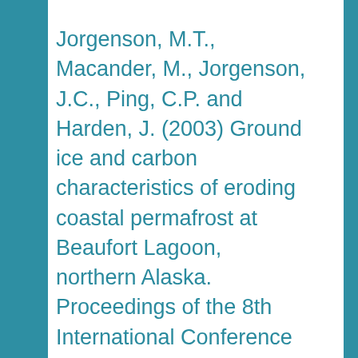Jorgenson, M.T., Macander, M., Jorgenson, J.C., Ping, C.P. and Harden, J. (2003) Ground ice and carbon characteristics of eroding coastal permafrost at Beaufort Lagoon, northern Alaska. Proceedings of the 8th International Conference on Permafrost. Zurich (Switzerland), 21-25 July 2003, 495-500.
Ogorodov, S. A. 2003a. Metodicheskie...